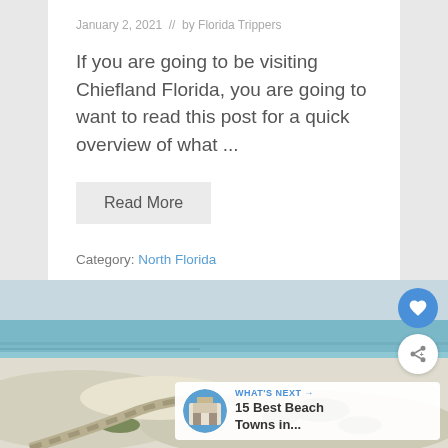January 2, 2021 // by Florida Trippers
If you are going to be visiting Chiefland Florida, you are going to want to read this post for a quick overview of what ...
Read More
Category: North Florida
[Figure (photo): Aerial view of a white sand beach with dunes and vegetation, with blue-green ocean water and a pale sky in the background. A walkway or road curves through the dunes.]
WHAT'S NEXT → 15 Best Beach Towns in...